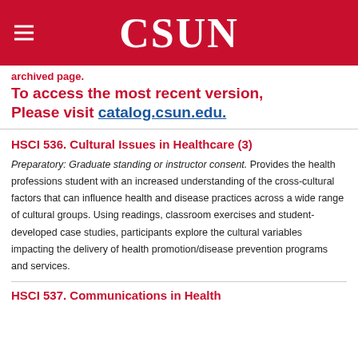CSUN
You are viewing an archived page. To access the most recent version, Please visit catalog.csun.edu.
HSCI 536. Cultural Issues in Healthcare (3)
Preparatory: Graduate standing or instructor consent. Provides the health professions student with an increased understanding of the cross-cultural factors that can influence health and disease practices across a wide range of cultural groups. Using readings, classroom exercises and student-developed case studies, participants explore the cultural variables impacting the delivery of health promotion/disease prevention programs and services.
HSCI 537. Communications in Health